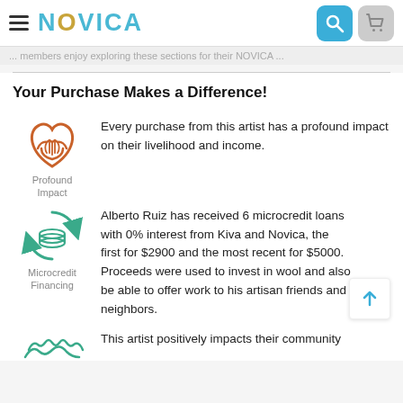NOVICA
...members enjoy exploring these sections for their NOVICA...
Your Purchase Makes a Difference!
[Figure (illustration): Orange handshake heart icon representing Profound Impact]
Every purchase from this artist has a profound impact on their livelihood and income.
Profound Impact
[Figure (illustration): Teal circular arrows with coins icon representing Microcredit Financing]
Alberto Ruiz has received 6 microcredit loans with 0% interest from Kiva and Novica, the first for $2900 and the most recent for $5000. Proceeds were used to invest in wool and also be able to offer work to his artisan friends and neighbors.
Microcredit Financing
[Figure (illustration): Teal community/people icon]
This artist positively impacts their community